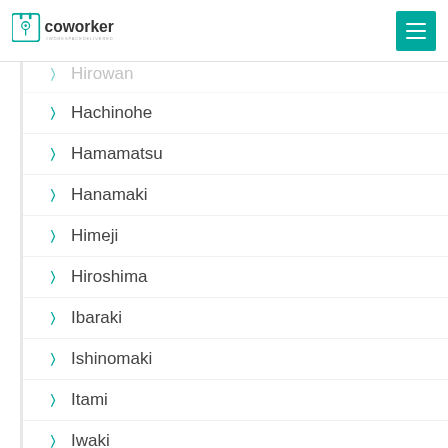coworker
Hachinohe
Hamamatsu
Hanamaki
Himeji
Hiroshima
Ibaraki
Ishinomaki
Itami
Iwaki
Kagoshima
Kakogawa
Kakuda
Kamakura
Kanazawa